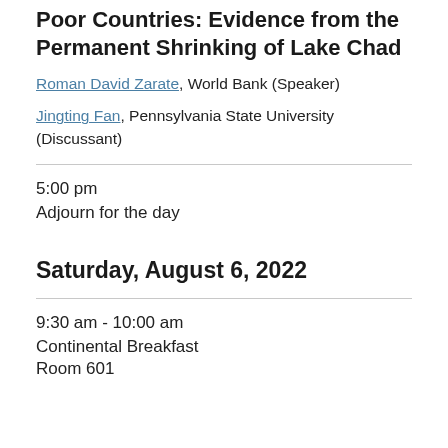Poor Countries: Evidence from the Permanent Shrinking of Lake Chad
Roman David Zarate, World Bank (Speaker)
Jingting Fan, Pennsylvania State University (Discussant)
5:00 pm
Adjourn for the day
Saturday, August 6, 2022
9:30 am - 10:00 am
Continental Breakfast
Room 601